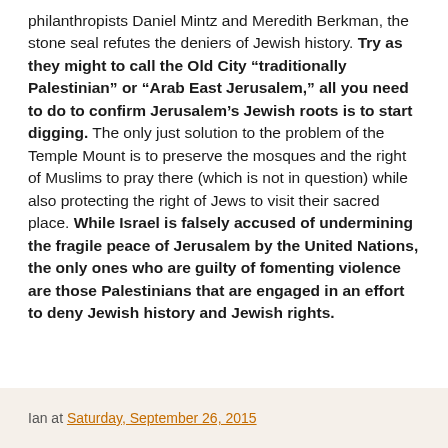philanthropists Daniel Mintz and Meredith Berkman, the stone seal refutes the deniers of Jewish history. Try as they might to call the Old City “traditionally Palestinian” or “Arab East Jerusalem,” all you need to do to confirm Jerusalem’s Jewish roots is to start digging. The only just solution to the problem of the Temple Mount is to preserve the mosques and the right of Muslims to pray there (which is not in question) while also protecting the right of Jews to visit their sacred place. While Israel is falsely accused of undermining the fragile peace of Jerusalem by the United Nations, the only ones who are guilty of fomenting violence are those Palestinians that are engaged in an effort to deny Jewish history and Jewish rights.
Ian at Saturday, September 26, 2015